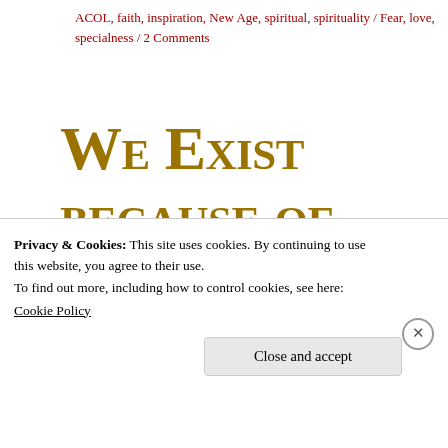ACOL, faith, inspiration, New Age, spiritual, spirituality / Fear, love, specialness / 2 Comments
We Exist because of Our Relationship with Love. Love Is the Unity We Seek
Privacy & Cookies: This site uses cookies. By continuing to use this website, you agree to their use.
To find out more, including how to control cookies, see here:
Cookie Policy
Close and accept